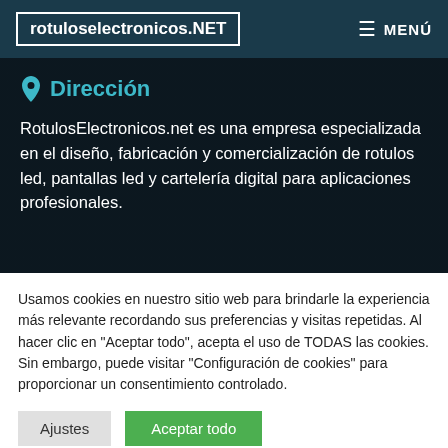rotuloselectronicos.NET  ≡ MENÚ
Dirección
RotulosElectronicos.net es una empresa especializada en el diseño, fabricación y comercialización de rotulos led, pantallas led y cartelería digital para aplicaciones profesionales.
Usamos cookies en nuestro sitio web para brindarle la experiencia más relevante recordando sus preferencias y visitas repetidas. Al hacer clic en "Aceptar todo", acepta el uso de TODAS las cookies. Sin embargo, puede visitar "Configuración de cookies" para proporcionar un consentimiento controlado.
Ajustes
Aceptar todo